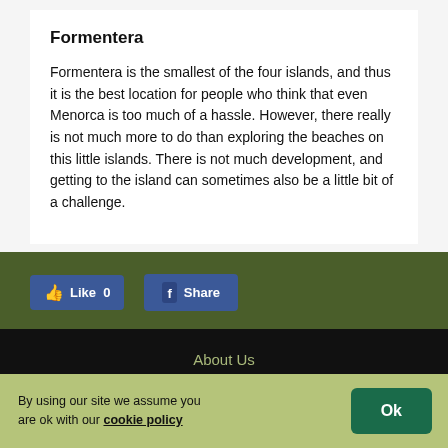Formentera
Formentera is the smallest of the four islands, and thus it is the best location for people who think that even Menorca is too much of a hassle. However, there really is not much more to do than exploring the beaches on this little islands. There is not much development, and getting to the island can sometimes also be a little bit of a challenge.
[Figure (screenshot): Facebook Like button showing 0 likes and a Facebook Share button]
About Us
Disclaimer
Sitemap
Privacy policy
By using our site we assume you are ok with our cookie policy